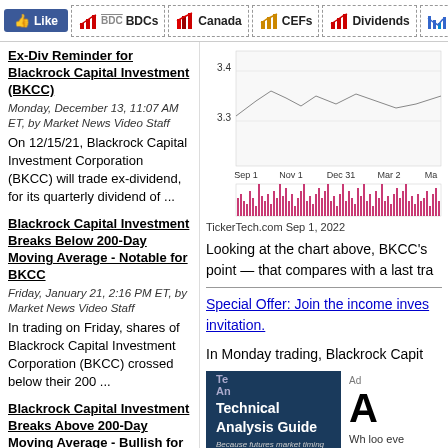Like | BDCs | Canada | CEFs | Dividends | Energy | B...
Ex-Div Reminder for Blackrock Capital Investment (BKCC)
Monday, December 13, 11:07 AM ET, by Market News Video Staff
On 12/15/21, Blackrock Capital Investment Corporation (BKCC) will trade ex-dividend, for its quarterly dividend of ...
Blackrock Capital Investment Breaks Below 200-Day Moving Average - Notable for BKCC
Friday, January 21, 2:16 PM ET, by Market News Video Staff
In trading on Friday, shares of Blackrock Capital Investment Corporation (BKCC) crossed below their 200 ...
Blackrock Capital Investment Breaks Above 200-Day Moving Average - Bullish for BKCC
Wednesday, March 9, 11:30 AM ET, by Market News Video Staff
[Figure (continuous-plot): BKCC stock price chart from Sep 1 to Mar 2, with y-axis showing 3.3 to 3.4, and volume bars below. TickerTech.com Sep 1, 2022]
TickerTech.com Sep 1, 2022
Looking at the chart above, BKCC's point — that compares with a last tra
Special Offer: Join the income inves invitation.
In Monday trading, Blackrock Capit
[Figure (infographic): Technical Analysis Guide advertisement — book cover on dark blue background with orange button. Ad section on right with large 'A' letter and text starting 'Wh loo eve']